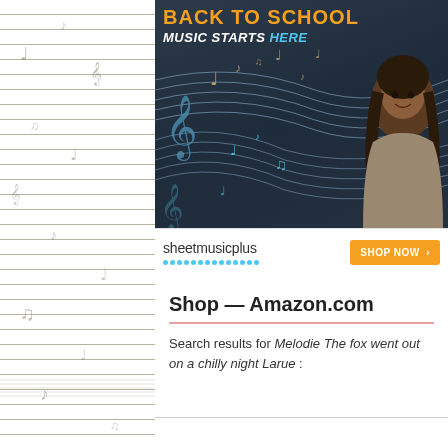[Figure (illustration): Sheet Music Plus advertisement banner. Orange bold text 'Back to School' with white italic 'Music Starts Here' in cyan. Dark chalkboard background with drawn music notes and staff lines in blue and tan. A smiling young girl with long curly hair stands on the right. Below: Sheet Music Plus logo with blue dots and orange 'SHOP NOW >' button.]
Shop — Amazon.com
Search results for Melodie The fox went out on a chilly night Larue :